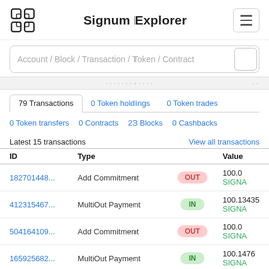Signum Explorer
Account / Block / Transaction / Token / Contract
79 Transactions  0 Token holdings  0 Token trades  0 Token transfers  0 Contracts  23 Blocks  0 Cashbacks
Latest 15 transactions  View all transactions
| ID | Type |  | Value |
| --- | --- | --- | --- |
| 182701448... | Add Commitment | OUT | 100.0
SIGNA |
| 412315467... | MultiOut Payment | IN | 100.13435
SIGNA |
| 504164109... | Add Commitment | OUT | 100.0
SIGNA |
| 165925682... | MultiOut Payment | IN | 100.1476
SIGNA |